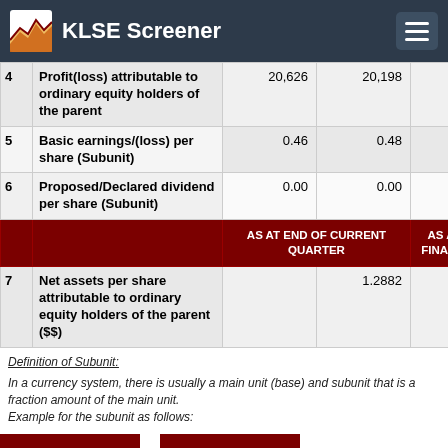KLSE Screener
|  |  | AS AT END OF CURRENT QUARTER | AS AT PRE FINANCIAL Y |
| --- | --- | --- | --- |
| 4 | Profit(loss) attributable to ordinary equity holders of the parent | 20,626 | 20,198 | 74,059 |
| 5 | Basic earnings/(loss) per share (Subunit) | 0.46 | 0.48 | 1.59 |
| 6 | Proposed/Declared dividend per share (Subunit) | 0.00 | 0.00 | 0.00 |
| 7 | Net assets per share attributable to ordinary equity holders of the parent ($$) |  | 1.2882 |  |
Definition of Subunit:
In a currency system, there is usually a main unit (base) and subunit that is a fraction amount of the main unit.
Example for the subunit as follows: